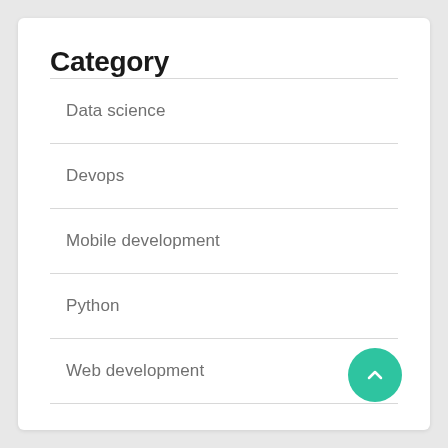Category
Data science
Devops
Mobile development
Python
Web development